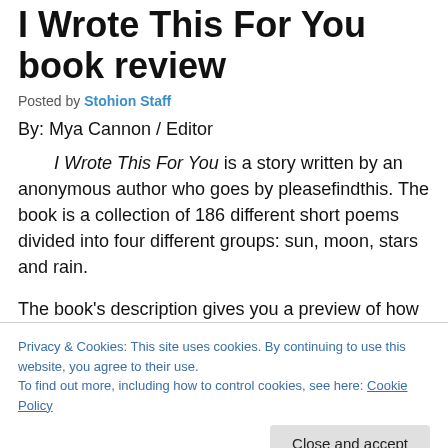I Wrote This For You book review
Posted by Stohion Staff
By: Mya Cannon / Editor
I Wrote This For You is a story written by an anonymous author who goes by pleasefindthis. The book is a collection of 186 different short poems divided into four different groups: sun, moon, stars and rain.
The book's description gives you a preview of how
Privacy & Cookies: This site uses cookies. By continuing to use this website, you agree to their use.
To find out more, including how to control cookies, see here: Cookie Policy
of sympathy for the author from the reader